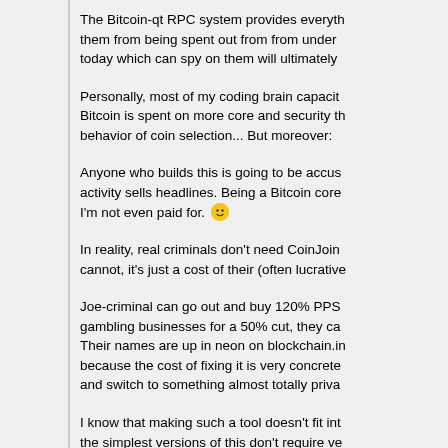The Bitcoin-qt RPC system provides everything needed to prevent them from being spent out from from under you. Any software today which can spy on them will ultimately
Personally, most of my coding brain capacity applied to Bitcoin is spent on more core and security things than the behavior of coin selection... But moreover:
Anyone who builds this is going to be accused... criminal activity sells headlines. Being a Bitcoin core dev is a job I'm not even paid for. 🙂
In reality, real criminals don't need CoinJoin and even if they cannot, it's just a cost of their (often lucrative)
Joe-criminal can go out and buy 120% PPS from mining and gambling businesses for a 50% cut, they can do a lot. Their names are up in neon on blockchain.info and they don't care because the cost of fixing it is very concrete... they could just stop and switch to something almost totally priva
I know that making such a tool doesn't fit int... the simplest versions of this don't require very much that you should carefully consider, but around hoped the "taint rich" thread would be enoug